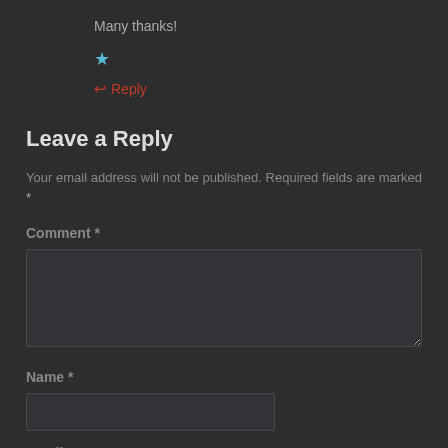Many thanks!
★
↩Reply
Leave a Reply
Your email address will not be published. Required fields are marked *
Comment *
[Figure (other): Comment text area input field]
Name *
[Figure (other): Name text input field]
Email *